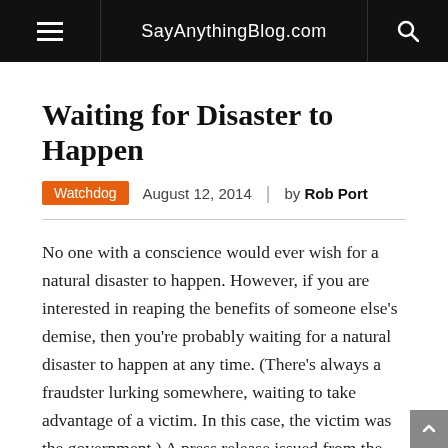SayAnythingBlog.com
Waiting for Disaster to Happen
Watchdog  August 12, 2014  by Rob Port
No one with a conscience would ever wish for a natural disaster to happen. However, if you are interested in reaping the benefits of someone else's demise, then you're probably waiting for a natural disaster to happen at any time. (There's always a fraudster lurking somewhere, waiting to take advantage of a victim. In this case, the victim was the government.) A press release issued from the Federal Bureau of Investigation (FBI) details the criminal efforts of two men who tried to make some extra money at the expense of those who lived through the 2011 Joplin tornado